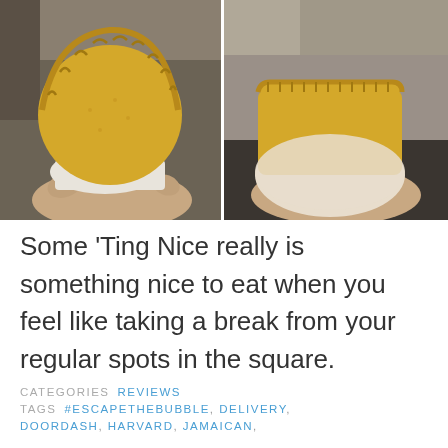[Figure (photo): Two side-by-side photos of Jamaican beef patties being held in hands wrapped in white paper. Left photo shows the front of a golden yellow patty; right photo shows the side/edge view of the patty in the bun.]
Some 'Ting Nice really is something nice to eat when you feel like taking a break from your regular spots in the square.
CATEGORIES REVIEWS TAGS #ESCAPETHEBUBBLE, DELIVERY, DOORDASH, HARVARD, JAMAICAN,